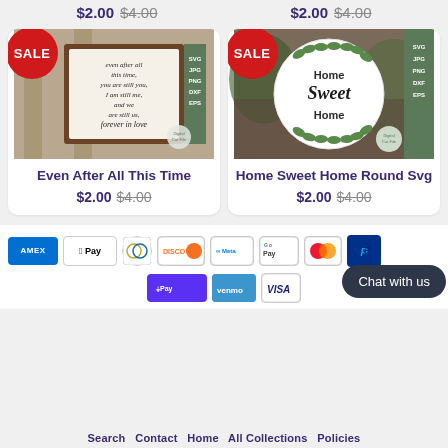$2.00 $4.00 (top left price pair)
$2.00 $4.00 (top right price pair)
[Figure (photo): Product card showing a wood-framed sign with cursive text 'even after all this time, you are still you, I am still me, and we are still us, forever in love' with SALE badge and SVG/JPG/PNG/DXF/EPS format labels]
Even After All This Time
$2.00 $4.00
[Figure (photo): Product card showing a round sign with 'Home Sweet Home' text and leaf decorations with SALE badge and SVG/JPG/PNG/DXF/EPS format labels]
Home Sweet Home Round Svg
$2.00 $4.00
[Figure (other): Payment method icons row 1: AMEX, Apple Pay, Diners Club, Discover, Meta, G Pay, Mastercard, PayPal]
[Figure (other): Payment method icons row 2: Shop Pay, Venmo, Visa, Chat with us button]
Search  Contact  Home  All Collections  Policies